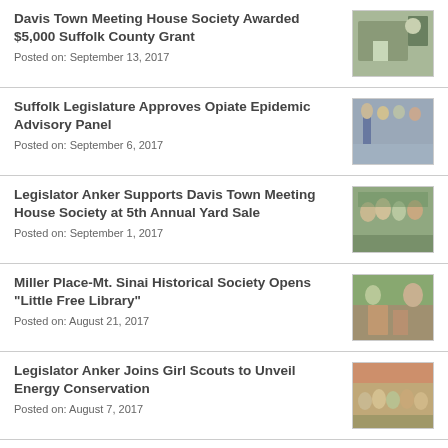Davis Town Meeting House Society Awarded $5,000 Suffolk County Grant
Posted on: September 13, 2017
Suffolk Legislature Approves Opiate Epidemic Advisory Panel
Posted on: September 6, 2017
Legislator Anker Supports Davis Town Meeting House Society at 5th Annual Yard Sale
Posted on: September 1, 2017
Miller Place-Mt. Sinai Historical Society Opens “Little Free Library”
Posted on: August 21, 2017
Legislator Anker Joins Girl Scouts to Unveil Energy Conservation
Posted on: August 7, 2017